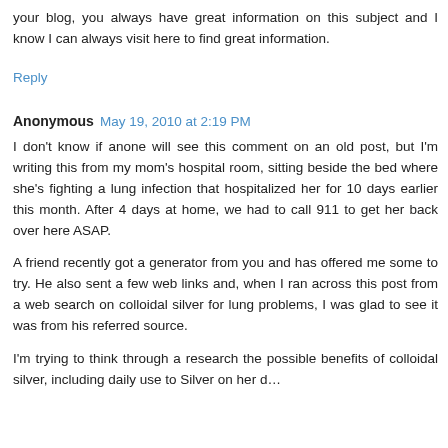your blog, you always have great information on this subject and I know I can always visit here to find great information.
Reply
Anonymous May 19, 2010 at 2:19 PM
I don't know if anone will see this comment on an old post, but I'm writing this from my mom's hospital room, sitting beside the bed where she's fighting a lung infection that hospitalized her for 10 days earlier this month. After 4 days at home, we had to call 911 to get her back over here ASAP.
A friend recently got a generator from you and has offered me some to try. He also sent a few web links and, when I ran across this post from a web search on colloidal silver for lung problems, I was glad to see it was from his referred source.
I'm trying to think through a research the possible benefits of colloidal silver, including daily use to Silver on her d…